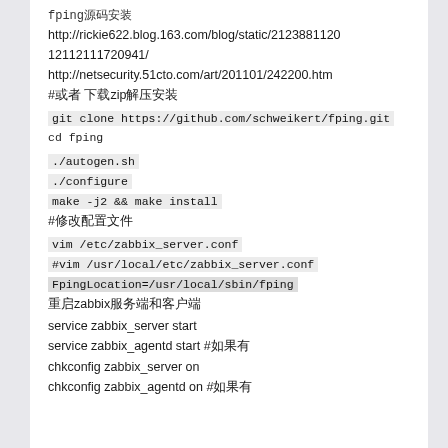fping源码安装
http://rickie622.blog.163.com/blog/static/212388112012112111720941/
http://netsecurity.51cto.com/art/201101/242200.htm
#或者 下载zip解压安装
git clone https://github.com/schweikert/fping.git
cd fping
./autogen.sh
./configure
make -j2 && make install
#修改配置文件
vim /etc/zabbix_server.conf
#vim /usr/local/etc/zabbix_server.conf
FpingLocation=/usr/local/sbin/fping
重启zabbix服务端和客户端
service zabbix_server start
service zabbix_agentd start #如果有
chkconfig zabbix_server on
chkconfig zabbix_agentd on #如果有